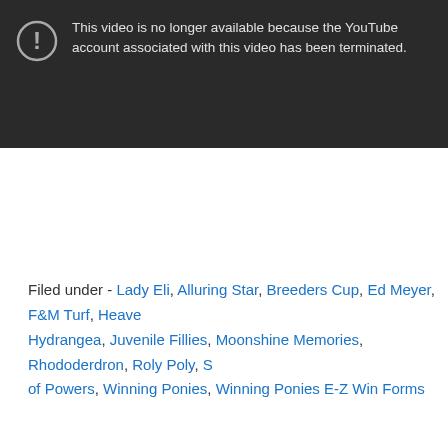[Figure (screenshot): YouTube video unavailable error screen with dark background, exclamation icon, and white text: 'This video is no longer available because the YouTube account associated with this video has been terminated.']
Filed under - Lady Eli, Alluring Star, Breeders Cup, Ed Meyer, F&M Turf, Heavenly Hydrangea, Juvenile Fillies, Moonshine Memories, Rhododerdron, Roly Poly, S of Powers, Winning Ponies, Winning Ponies E-Z Win Forms